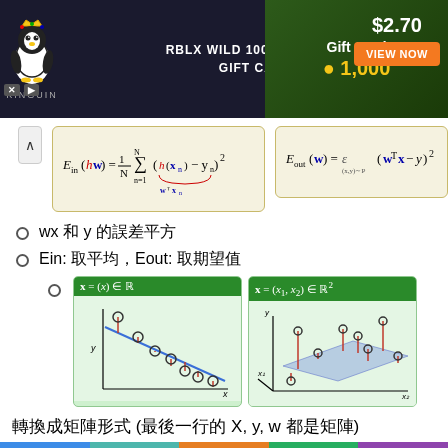[Figure (screenshot): Kinguin advertisement banner: RBLX WILD 1000 BALANCE GIFT CARD, Gift Card, 1,000 coins, $2.70, VIEW NOW button]
[Figure (math-figure): Ein(hw) = (1/N) sum_{n=1}^{N} (h(x_n) - y_n)^2 where h(x_n) is underbraced as w^T x_n]
[Figure (math-figure): Eout(w) = E_{(x,y)~P} (w^T x - y)^2]
wx 和 y 的誤差平方
Ein: 取平均，Eout: 取期望值
[Figure (illustration): Two diagrams: left shows x=(x)∈R with 2D scatter and regression line; right shows x=(x1,x2)∈R^2 with 3D scatter and regression plane]
轉換成矩陣形式 (最後一行的 X, y, w 都是矩陣)